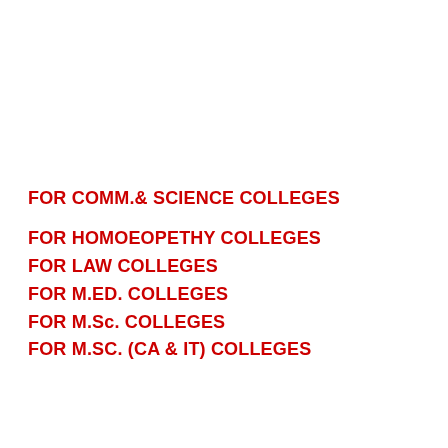FOR COMM.& SCIENCE COLLEGES
FOR HOMOEOPETHY COLLEGES
FOR LAW COLLEGES
FOR M.ED. COLLEGES
FOR M.Sc. COLLEGES
FOR M.SC. (CA & IT) COLLEGES